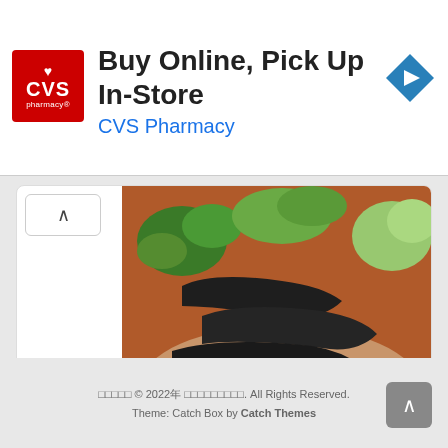[Figure (screenshot): CVS Pharmacy advertisement banner: red CVS logo on left, bold text 'Buy Online, Pick Up In-Store' with blue 'CVS Pharmacy' subtitle, blue navigation arrow icon on right. Info (i) and X close buttons at bottom left.]
[Figure (photo): Food photo showing a bowl of Asian noodle dish with dark braised items (possibly abalone or sea cucumber), green vegetables, and broth on noodles.]
□□30□□□□□□□□□
http://www.messiahworks.com/comics/
□□□□□ © 2022□ □□□□□□□□□. All Rights Reserved. Theme: Catch Box by Catch Themes